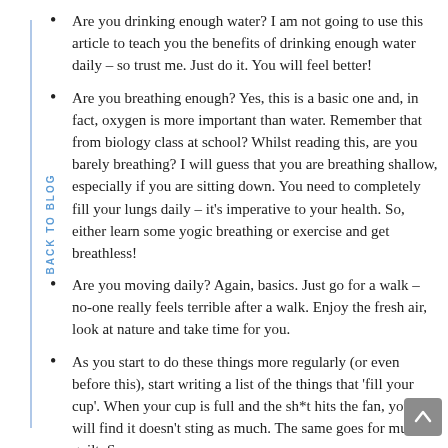Are you drinking enough water? I am not going to use this article to teach you the benefits of drinking enough water daily – so trust me. Just do it. You will feel better!
Are you breathing enough? Yes, this is a basic one and, in fact, oxygen is more important than water. Remember that from biology class at school? Whilst reading this, are you barely breathing? I will guess that you are breathing shallow, especially if you are sitting down. You need to completely fill your lungs daily – it's imperative to your health. So, either learn some yogic breathing or exercise and get breathless!
Are you moving daily? Again, basics. Just go for a walk – no-one really feels terrible after a walk. Enjoy the fresh air, look at nature and take time for you.
As you start to do these things more regularly (or even before this), start writing a list of the things that 'fill your cup'. When your cup is full and the sh*t hits the fan, you will find it doesn't sting as much. The same goes for mum guilt. Some